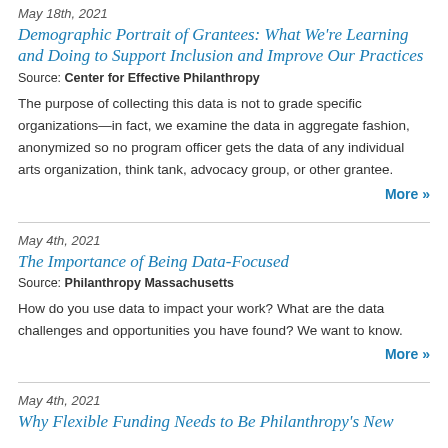May 18th, 2021
Demographic Portrait of Grantees: What We're Learning and Doing to Support Inclusion and Improve Our Practices
Source: Center for Effective Philanthropy
The purpose of collecting this data is not to grade specific organizations—in fact, we examine the data in aggregate fashion, anonymized so no program officer gets the data of any individual arts organization, think tank, advocacy group, or other grantee.
More »
May 4th, 2021
The Importance of Being Data-Focused
Source: Philanthropy Massachusetts
How do you use data to impact your work? What are the data challenges and opportunities you have found? We want to know.
More »
May 4th, 2021
Why Flexible Funding Needs to Be Philanthropy's New